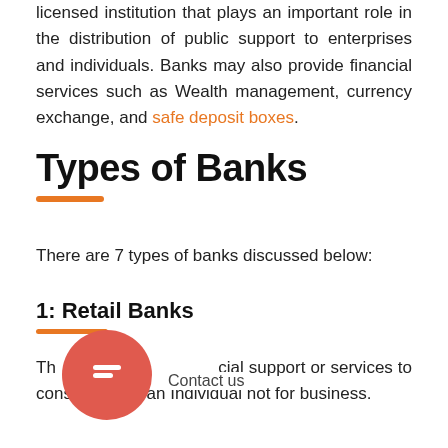licensed institution that plays an important role in the distribution of public support to enterprises and individuals. Banks may also provide financial services such as Wealth management, currency exchange, and safe deposit boxes.
Types of Banks
There are 7 types of banks discussed below:
1: Retail Banks
The bank provides financial support or services to consumers as an Individual not for business.